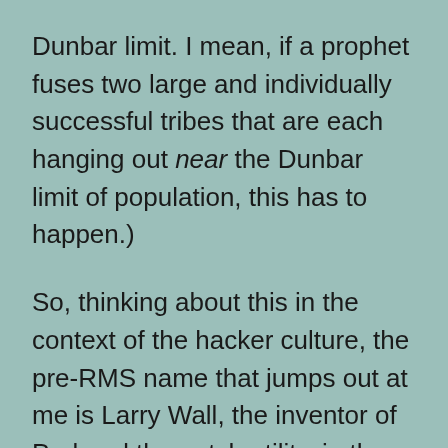Dunbar limit. I mean, if a prophet fuses two large and individually successful tribes that are each hanging out near the Dunbar limit of population, this has to happen.)
So, thinking about this in the context of the hacker culture, the pre-RMS name that jumps out at me is Larry Wall, the inventor of Perl and the patch utility, in the early 1980s. Then and now, he has spoken in prophetic terms about art, beauty, play, and service to others. In retrospect it seems to me that the early Perl hackers were among the first of our subtribes to start exhibiting Stage 4 “We’re great!” most